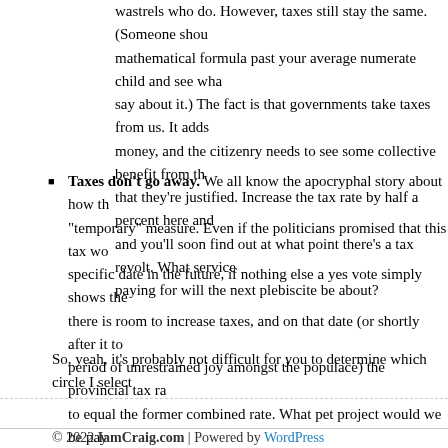wastrels who do. However, taxes still stay the same. (Someone should run this mathematical formula past your average numerate child and see what they have to say about it.) The fact is that governments take taxes from us. It adds up to a lot of money, and the citizenry needs to see some collective benefit from the taxes to feel that they're justified. Increase the tax rate by half a percent here and half a percent and you'll soon find out at what point there's a tax revolt. What service we'll be paying for will the next plebiscite be about?
Taxes don't go away. We all know the apocryphal story about how the income tax was a "temporary" measure. Even if the politicians promised that this tax would end on a specific date in the future, if nothing else a yes vote simply shows the politicians that there is room to increase taxes, and on that date (or shortly after it to allow for a period of unrestrained joy amongst the populace) the provincial tax rate will be raised to equal the former combined rate. What pet project would we be paying for then?
So, yeah, it's probably not difficult for you to determine which circle I select
© 2022 IamCraig.com | Powered by WordPress